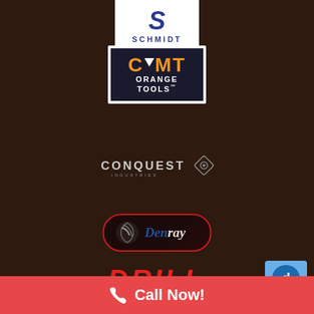[Figure (logo): Schmidt logo - blue stylized S with SCHMIDT text below on white background]
[Figure (logo): CMT Orange Tools logo - orange CMT letters with white triangle and ORANGE TOOLS text on dark navy background with white border]
[Figure (logo): Conquest Industries logo - grey text with diamond/circle icon on dark brown background]
[Figure (logo): Denray logo - red oval border with spiral drill bit icon and Denray name on dark background]
[Figure (logo): Drill red italic text partially visible at bottom]
[Figure (logo): Partial blue/white logo partially visible at bottom right]
Call Now!